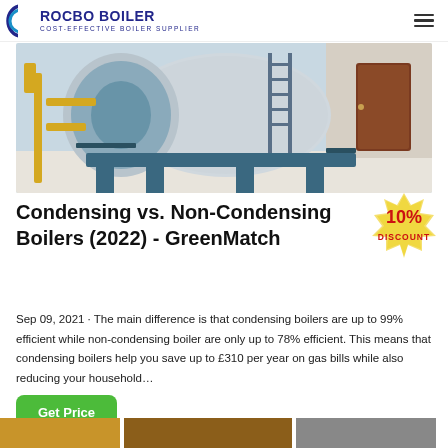ROCBO BOILER — COST-EFFECTIVE BOILER SUPPLIER
[Figure (photo): Industrial boiler in a facility — large cylindrical white/grey boiler on a blue metal frame, with yellow pipework on the left and a brown door on the right, white floor.]
Condensing vs. Non-Condensing Boilers (2022) - GreenMatch
[Figure (other): 10% DISCOUNT promotional badge in red and yellow/cream stamp style.]
Sep 09, 2021 · The main difference is that condensing boilers are up to 99% efficient while non-condensing boiler are only up to 78% efficient. This means that condensing boilers help you save up to £310 per year on gas bills while also reducing your household…
[Figure (photo): Three partial thumbnail images at the bottom of the page showing boiler-related equipment.]